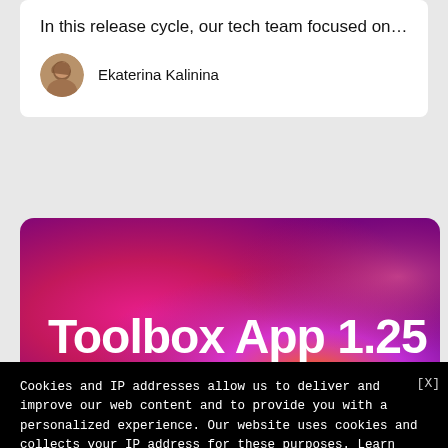In this release cycle, our tech team focused on…
Ekaterina Kalinina
[Figure (illustration): Pink/magenta gradient banner card with large white bold text reading 'Toolbox App 1.25']
Cookies and IP addresses allow us to deliver and improve our web content and to provide you with a personalized experience. Our website uses cookies and collects your IP address for these purposes. Learn more
JetBrains may use cookies and my IP address to collect individual statistics and to provide me with personalized offers and ads subject to the Privacy Policy and the Terms of Use. JetBrains may use third-party services for this purpose. I can revoke my consent at any time by visiting the Opt-Out page.